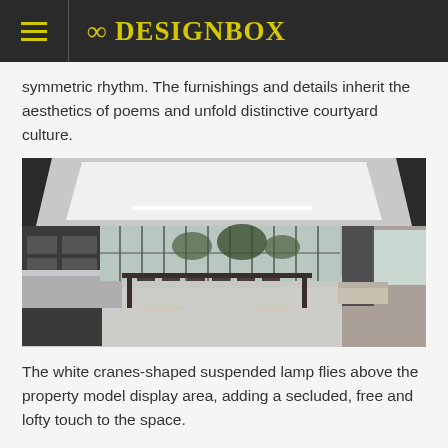8 DESIGNBOX
symmetric rhythm. The furnishings and details inherit the aesthetics of poems and unfold distinctive courtyard culture.
[Figure (photo): Interior of a modern luxury showroom/lobby with large floor-to-ceiling windows, a long dining table with chairs, marble reception counter, display shelving on the left, and indoor plants. High polished concrete floors and a distinctive recessed ceiling with linear lighting.]
The white cranes-shaped suspended lamp flies above the property model display area, adding a secluded, free and lofty touch to the space.
The open display cabinets on both sides make the space more fluid,